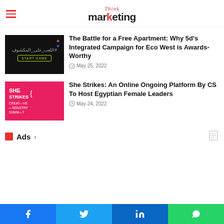Think marketing
The Battle for a Free Apartment: Why 5d's Integrated Campaign for Eco West is Awards-Worthy
May 25, 2022
She Strikes: An Online Ongoing Platform By CS To Host Egyptian Female Leaders
May 24, 2022
Ads ›
Facebook Twitter LinkedIn WhatsApp